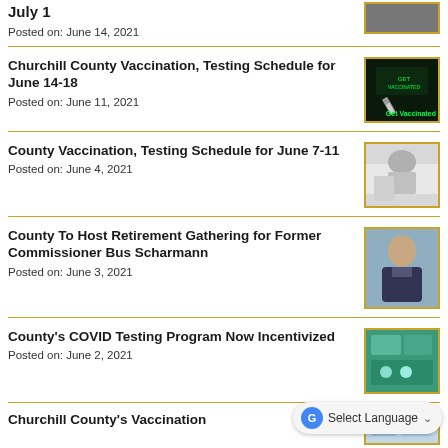July 1
Posted on: June 14, 2021
Churchill County Vaccination, Testing Schedule for June 14-18
Posted on: June 11, 2021
County Vaccination, Testing Schedule for June 7-11
Posted on: June 4, 2021
County To Host Retirement Gathering for Former Commissioner Bus Scharmann
Posted on: June 3, 2021
County's COVID Testing Program Now Incentivized
Posted on: June 2, 2021
Churchill County's Vaccination